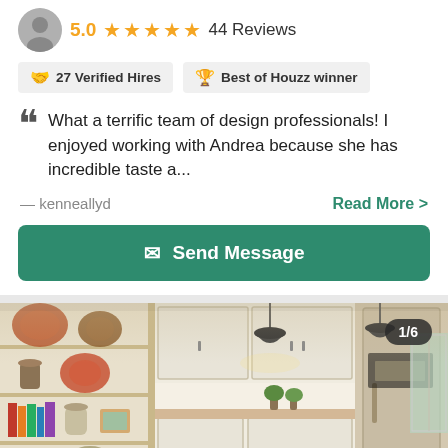5.0 ★★★★★  44 Reviews
27 Verified Hires   Best of Houzz winner
What a terrific team of design professionals! I enjoyed working with Andrea because she has incredible taste a...
— kenneallyd
Read More >
Send Message
[Figure (photo): Interior kitchen photo showing white cabinetry, open shelving with decorative items, stainless steel refrigerator, pendant lights, and kitchen island. Photo counter shows 1/6.]